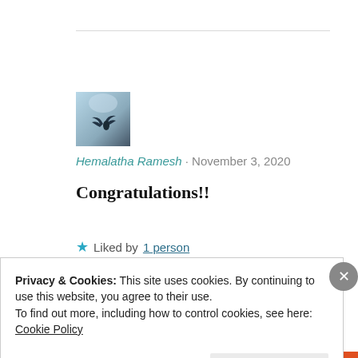[Figure (photo): Small square avatar thumbnail showing a sky background with a bird silhouette]
Hemalatha Ramesh · November 3, 2020
Congratulations!!
★ Liked by 1 person
Reply
Privacy & Cookies: This site uses cookies. By continuing to use this website, you agree to their use.
To find out more, including how to control cookies, see here: Cookie Policy
Close and accept